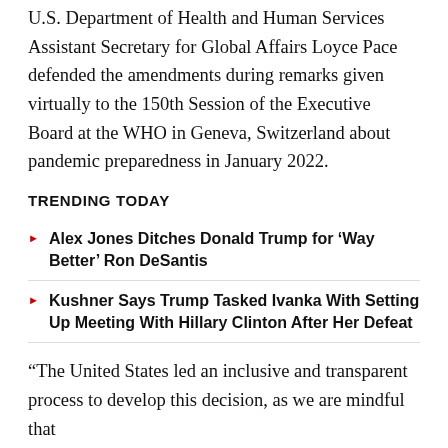U.S. Department of Health and Human Services Assistant Secretary for Global Affairs Loyce Pace defended the amendments during remarks given virtually to the 150th Session of the Executive Board at the WHO in Geneva, Switzerland about pandemic preparedness in January 2022.
TRENDING TODAY
Alex Jones Ditches Donald Trump for 'Way Better' Ron DeSantis
Kushner Says Trump Tasked Ivanka With Setting Up Meeting With Hillary Clinton After Her Defeat
“The United States led an inclusive and transparent process to develop this decision, as we are mindful that